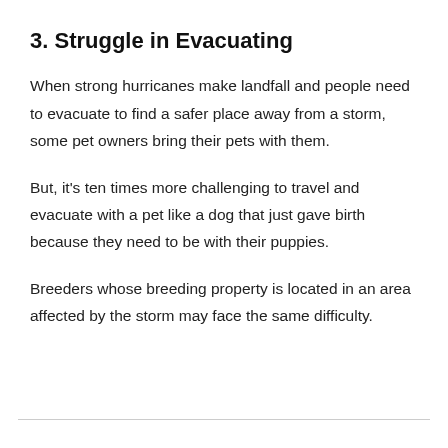3. Struggle in Evacuating
When strong hurricanes make landfall and people need to evacuate to find a safer place away from a storm, some pet owners bring their pets with them.
But, it's ten times more challenging to travel and evacuate with a pet like a dog that just gave birth because they need to be with their puppies.
Breeders whose breeding property is located in an area affected by the storm may face the same difficulty.